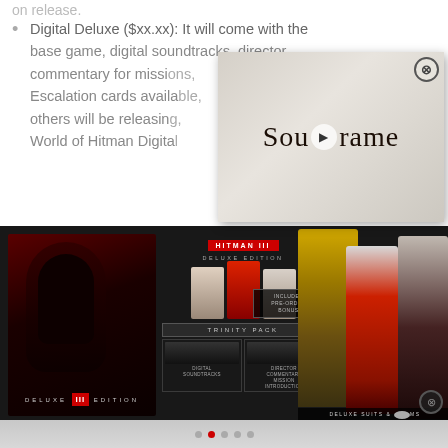on release.
Digital Deluxe ($xx.xx): It will come with the base game, digital soundtracks. director commentary for missi[ons], Escalation cards availa[ble], others will be releasing[,] World of Hitman Digita[l]
[Figure (screenshot): Soulframe video popup overlay with logo text 'Soulframe' in gothic lettering on a textured grey background, with a close (X) button and play button]
[Figure (screenshot): Hitman III Deluxe Edition promotional image showing box art on left with Agent 47 silhouette, center panel with HITMAN III DELUXE EDITION logo and three character figures, INCLUDES PRE-ORDER BONUS badge, TRINITY PACK banner, DIGITAL SOUNDTRACKS and DIRECTOR COMMENTARY MISSION INTRODUCTION boxes, and right panel showing DELUXE SUITS & ITEMS with three costumed characters including golden mask character]